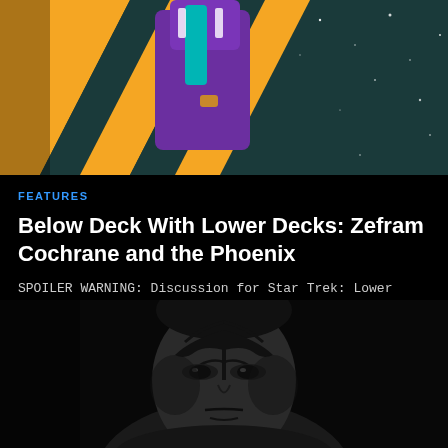[Figure (illustration): Colorful animated illustration showing a purple figure in front of diagonal yellow and teal stripes against a dark starry background - Star Trek Lower Decks artwork]
FEATURES
Below Deck With Lower Decks: Zefram Cochrane and the Phoenix
SPOILER WARNING: Discussion for Star Trek: Lower Decks – Sea...
[Figure (photo): Black and white photo of a man with dark facial tattoos resembling the Malurian or similar alien markings from Star Trek, looking intensely at camera against dark background]